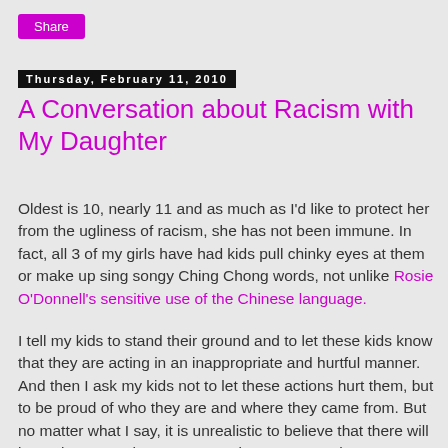Share
Thursday, February 11, 2010
A Conversation about Racism with My Daughter
Oldest is 10, nearly 11 and as much as I'd like to protect her from the ugliness of racism, she has not been immune. In fact, all 3 of my girls have had kids pull chinky eyes at them or make up sing songy Ching Chong words, not unlike Rosie O'Donnell's sensitive use of the Chinese language.
I tell my kids to stand their ground and to let these kids know that they are acting in an inappropriate and hurtful manner. And then I ask my kids not to let these actions hurt them, but to be proud of who they are and where they came from. But no matter what I say, it is unrealistic to believe that there will be no impact to them. I can see it even now. When we go somewhere and they notice that they are the only minority present, they are reluctant to bring attention to themselves,